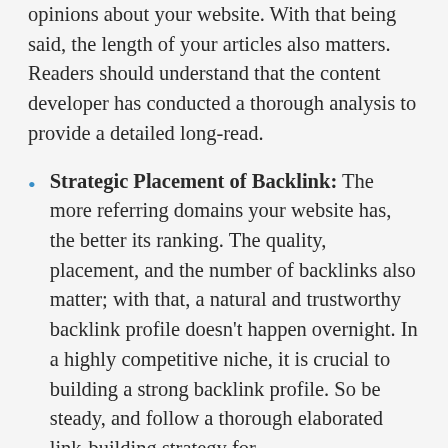opinions about your website. With that being said, the length of your articles also matters. Readers should understand that the content developer has conducted a thorough analysis to provide a detailed long-read.
Strategic Placement of Backlink: The more referring domains your website has, the better its ranking. The quality, placement, and the number of backlinks also matter; with that, a natural and trustworthy backlink profile doesn't happen overnight. In a highly competitive niche, it is crucial to building a strong backlink profile. So be steady, and follow a thorough elaborated link-building strategy for